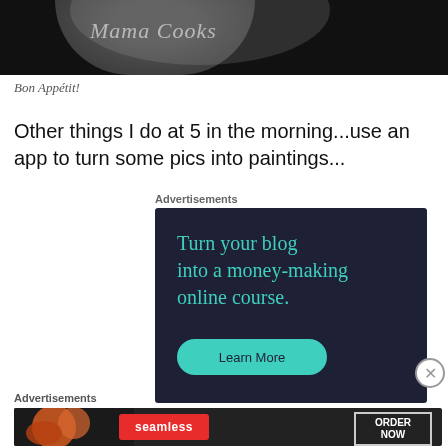[Figure (photo): Dark background with a partial view of a dish/plate and stylized italic text reading 'Mama Cooks']
Bon Appétit!
Other things I do at 5 in the morning...use an app to turn some pics into paintings...
Advertisements
[Figure (other): Dark navy advertisement banner: 'Turn your blog into a money-making online course.' with a teal 'Learn More' button]
Advertisements
[Figure (other): Seamless food delivery advertisement with pizza imagery, red Seamless badge, and 'ORDER NOW' button]